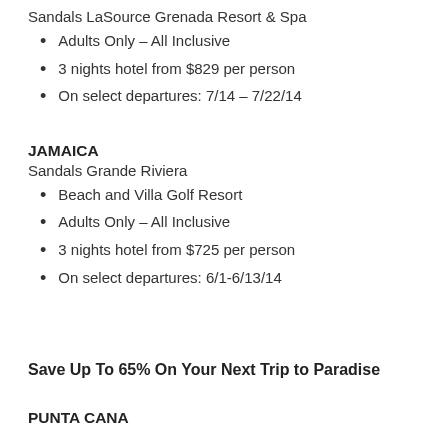Sandals LaSource Grenada Resort & Spa
Adults Only – All Inclusive
3 nights hotel from $829 per person
On select departures: 7/14 – 7/22/14
JAMAICA
Sandals Grande Riviera
Beach and Villa Golf Resort
Adults Only – All Inclusive
3 nights hotel from $725 per person
On select departures: 6/1-6/13/14
Save Up To 65% On Your Next Trip to Paradise
PUNTA CANA